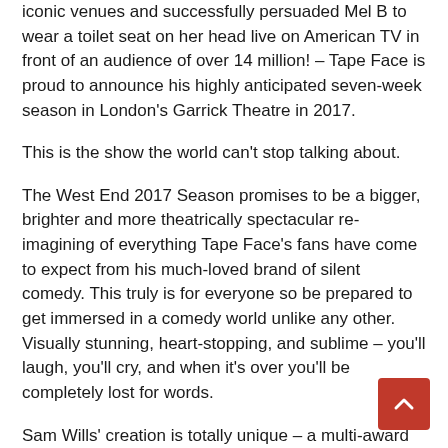iconic venues and successfully persuaded Mel B to wear a toilet seat on her head live on American TV in front of an audience of over 14 million! – Tape Face is proud to announce his highly anticipated seven-week season in London's Garrick Theatre in 2017.
This is the show the world can't stop talking about.
The West End 2017 Season promises to be a bigger, brighter and more theatrically spectacular re-imagining of everything Tape Face's fans have come to expect from his much-loved brand of silent comedy. This truly is for everyone so be prepared to get immersed in a comedy world unlike any other. Visually stunning, heart-stopping, and sublime – you'll laugh, you'll cry, and when it's over you'll be completely lost for words.
Sam Wills' creation is totally unique – a multi-award winning, multi-hyphenate spectacle that needs to be seen to be believed as he conjures uproarious, moving tableaux using only the most everyday objects and popular songs.